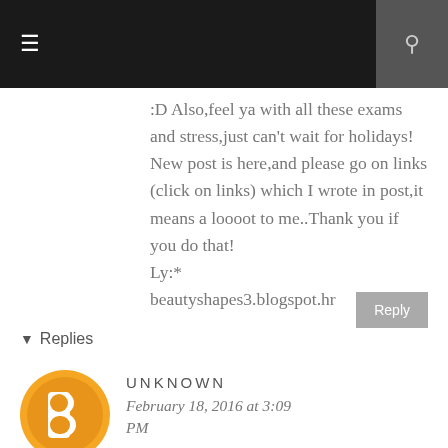[Figure (screenshot): Dark navigation bar with hamburger menu icon on the left and search icon on the right in a grey box]
:D Also,feel ya with all these exams and stress,just can't wait for holidays!
New post is here,and please go on links (click on links) which I wrote in post,it means a loooot to me..Thank you if you do that!
Ly:*
beautyshapes3.blogspot.hr
Reply
▾ Replies
[Figure (logo): Blogger orange circle avatar icon with white B letter]
UNKNOWN
February 18, 2016 at 3:09 PM